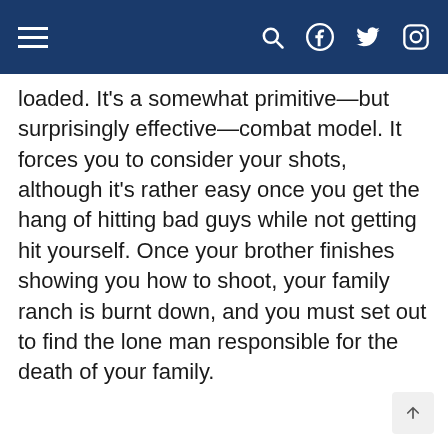[navigation bar with hamburger menu, search, Facebook, Twitter, Instagram icons]
loaded. It's a somewhat primitive—but surprisingly effective—combat model. It forces you to consider your shots, although it's rather easy once you get the hang of hitting bad guys while not getting hit yourself. Once your brother finishes showing you how to shoot, your family ranch is burnt down, and you must set out to find the lone man responsible for the death of your family.